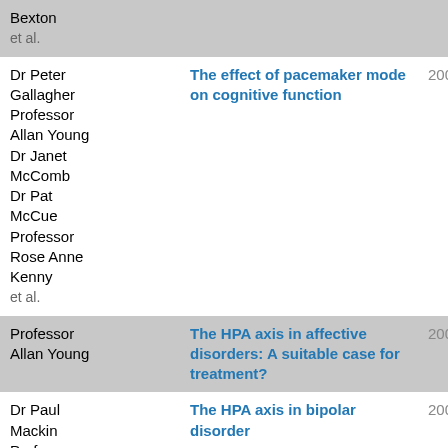| Author | Title | Year |
| --- | --- | --- |
| Bexton
et al. |  |  |
| Dr Peter Gallagher
Professor Allan Young
Dr Janet McComb
Dr Pat McCue
Professor Rose Anne Kenny
et al. | The effect of pacemaker mode on cognitive function | 2005 |
| Professor Allan Young | The HPA axis in affective disorders: A suitable case for treatment? | 2005 |
| Dr Paul Mackin
Professor | The HPA axis in bipolar disorder | 2005 |